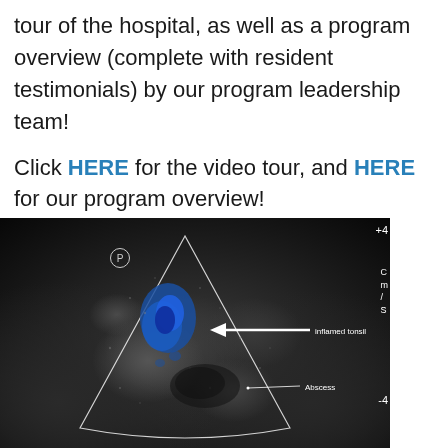tour of the hospital, as well as a program overview (complete with resident testimonials) by our program leadership team!

Click HERE for the video tour, and HERE for our program overview!
[Figure (photo): Ultrasound image with color Doppler showing an inflamed tonsil (labeled with arrow) and an abscess (labeled below), displayed on a dark ultrasound background with measurement markers.]